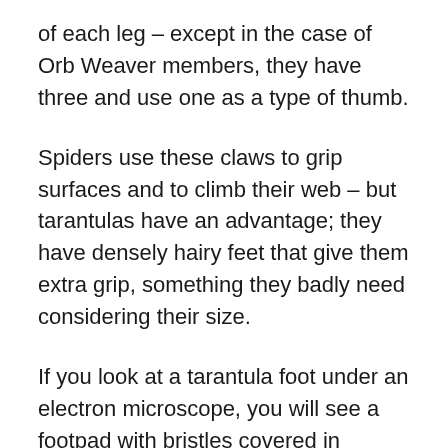of each leg – except in the case of Orb Weaver members, they have three and use one as a type of thumb.
Spiders use these claws to grip surfaces and to climb their web – but tarantulas have an advantage; they have densely hairy feet that give them extra grip, something they badly need considering their size.
If you look at a tarantula foot under an electron microscope, you will see a footpad with bristles covered in hundreds of thousands of small hairs called setules.
If that is not cool enough, to scale up slippery surfaces, tarantulas will retract their claws, just like a